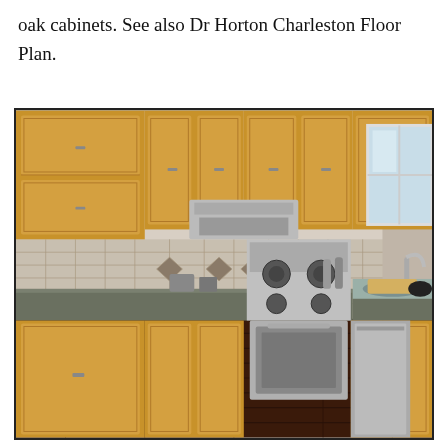oak cabinets. See also Dr Horton Charleston Floor Plan.
[Figure (photo): Kitchen interior with oak wood cabinets, stainless steel gas range and double oven, tile backsplash with diamond pattern, dark hardwood floors, granite countertops, stainless steel sink, and a window on the right side.]